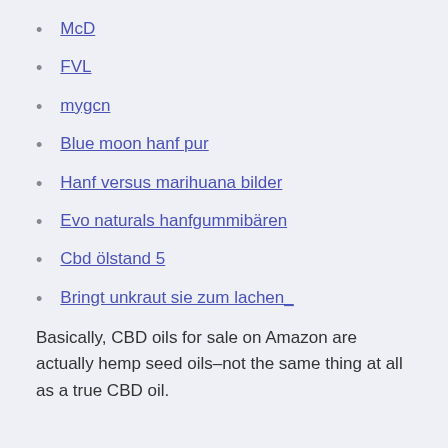McD
FVL
mygcn
Blue moon hanf pur
Hanf versus marihuana bilder
Evo naturals hanfgummibären
Cbd ölstand 5
Bringt unkraut sie zum lachen_
Basically, CBD oils for sale on Amazon are actually hemp seed oils–not the same thing at all as a true CBD oil.